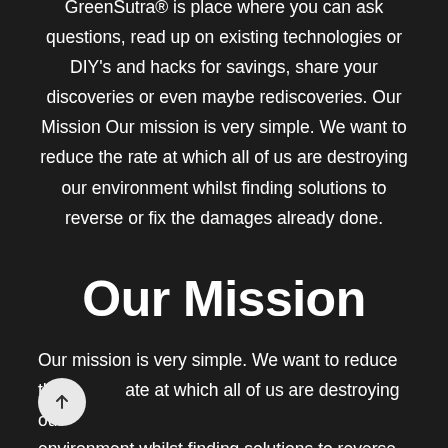GreenSutra® is place where you can ask questions, read up on existing technologies or DIY's and hacks for savings, share your discoveries or even maybe rediscoveries. Our Mission Our mission is very simple. We want to reduce the rate at which all of us are destroying our environment whilst finding solutions to reverse or fix the damages already done.
Our Mission
Our mission is very simple. We want to reduce the rate at which all of us are destroying our environment whilst finding solutions to reverse